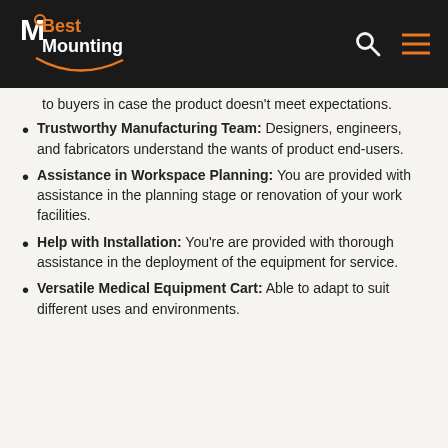MBest Mounting
to buyers in case the product doesn't meet expectations.
Trustworthy Manufacturing Team: Designers, engineers, and fabricators understand the wants of product end-users.
Assistance in Workspace Planning: You are provided with assistance in the planning stage or renovation of your work facilities.
Help with Installation: You're are provided with thorough assistance in the deployment of the equipment for service.
Versatile Medical Equipment Cart: Able to adapt to suit different uses and environments.